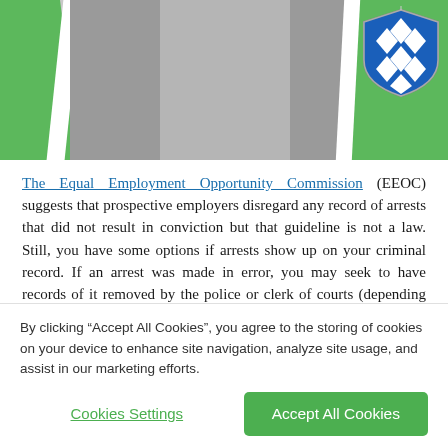[Figure (photo): Partial view of a person wearing grey trousers, with a green and white background (police car) and a Bavarian police badge (blue and white diamond shield) visible on the right.]
The Equal Employment Opportunity Commission (EEOC) suggests that prospective employers disregard any record of arrests that did not result in conviction but that guideline is not a law. Still, you have some options if arrests show up on your criminal record. If an arrest was made in error, you may seek to have records of it removed by the police or clerk of courts (depending upon where the record resides). States like Colorado, Connecticut, Illinois, Indiana, Louisiana, and Delaware automatically seal or expunge non-conviction arrest
By clicking “Accept All Cookies”, you agree to the storing of cookies on your device to enhance site navigation, analyze site usage, and assist in our marketing efforts.